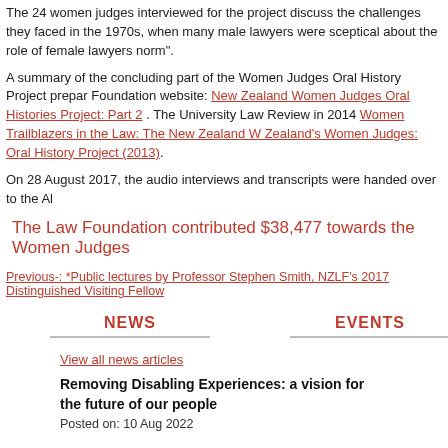The 24 women judges interviewed for the project discuss the challenges they faced in the 1970s, when many male lawyers were sceptical about the role of female lawyers norm".
A summary of the concluding part of the Women Judges Oral History Project prepared for the Foundation website: New Zealand Women Judges Oral Histories Project: Part 2 . The University Law Review in 2014 Women Trailblazers in the Law: The New Zealand Women Judges: Oral History Project (2013).
On 28 August 2017, the audio interviews and transcripts were handed over to the Al
The Law Foundation contributed $38,477 towards the Women Judges
Previous-: *Public lectures by Professor Stephen Smith, NZLF’s 2017 Distinguished Visiting Fellow
NEWS
EVENTS
View all news articles
Removing Disabling Experiences: a vision for the future of our people
Posted on: 10 Aug 2022